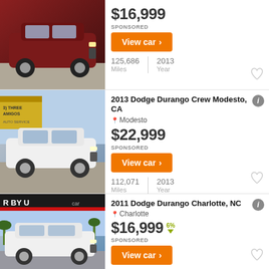[Figure (photo): Dark red/maroon SUV (Dodge Durango) parked in a lot]
$16,999
SPONSORED
View car >
125,686 Miles | 2013 Year
[Figure (photo): White SUV (2013 Dodge Durango) at a car dealership lot with yellow sign in background]
2013 Dodge Durango Crew Modesto, CA
Modesto
$22,999
SPONSORED
View car >
112,071 Miles | 2013 Year
[Figure (photo): White SUV (2011 Dodge Durango) at dealership with palm trees visible, 'R BY U' sign in background]
2011 Dodge Durango Charlotte, NC
Charlotte
$16,999 6%
SPONSORED
View car >
128,238 | 2011